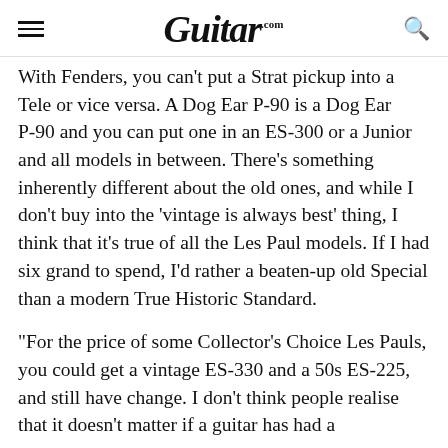Guitar.com
With Fenders, you can't put a Strat pickup into a Tele or vice versa. A Dog Ear P-90 is a Dog Ear P-90 and you can put one in an ES-300 or a Junior and all models in between. There's something inherently different about the old ones, and while I don't buy into the 'vintage is always best' thing, I think that it's true of all the Les Paul models. If I had six grand to spend, I'd rather a beaten-up old Special than a modern True Historic Standard.
“For the price of some Collector’s Choice Les Pauls, you could get a vintage ES-330 and a 50s ES-225, and still have change. I don’t think people realise that it doesn’t matter if a guitar has had a